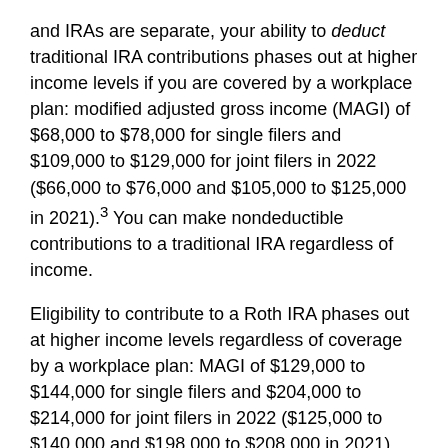and IRAs are separate, your ability to deduct traditional IRA contributions phases out at higher income levels if you are covered by a workplace plan: modified adjusted gross income (MAGI) of $68,000 to $78,000 for single filers and $109,000 to $129,000 for joint filers in 2022 ($66,000 to $76,000 and $105,000 to $125,000 in 2021).³ You can make nondeductible contributions to a traditional IRA regardless of income.
Eligibility to contribute to a Roth IRA phases out at higher income levels regardless of coverage by a workplace plan: MAGI of $129,000 to $144,000 for single filers and $204,000 to $214,000 for joint filers in 2022 ($125,000 to $140,000 and $198,000 to $208,000 in 2021).
Contributions to employer-sponsored plans and traditional IRAs are generally made on a pre-tax or tax-deductible basis and accumulate tax deferred. Distributions are taxed as ordinary income and may be subject to a 10% federal income tax penalty if